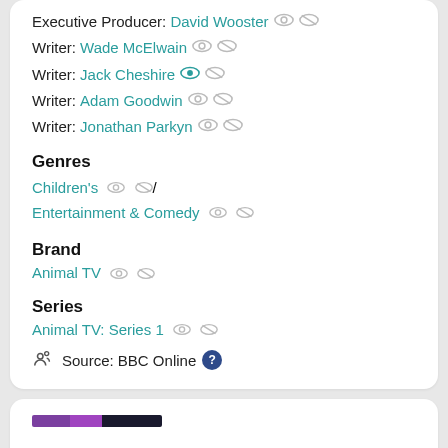Executive Producer: David Wooster
Writer: Wade McElwain
Writer: Jack Cheshire
Writer: Adam Goodwin
Writer: Jonathan Parkyn
Genres
Children's / Entertainment & Comedy
Brand
Animal TV
Series
Animal TV: Series 1
Source: BBC Online